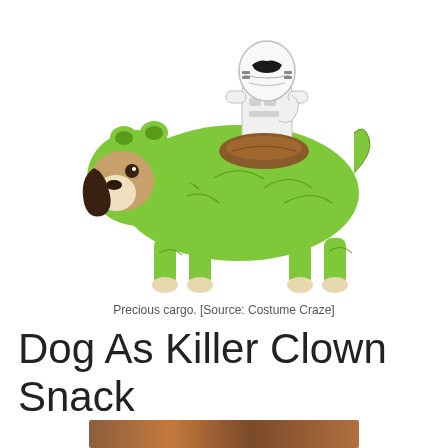[Figure (photo): A dog wearing a green dinosaur/alien costume (resembling a Dewback from Star Wars) with a stormtrooper figure mounted on its back as a rider. The dog is posed standing sideways against a white background.]
Precious cargo. [Source: Costume Craze]
Dog As Killer Clown Snack
[Figure (photo): Partial bottom image, cropped, showing a brownish/orange toned scene (partially visible).]